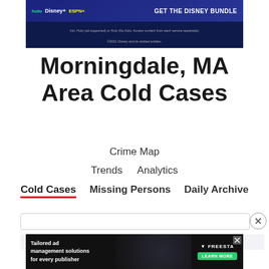[Figure (screenshot): Disney Bundle advertisement banner showing Hulu, Disney+, ESPN+ logos with 'GET THE DISNEY BUNDLE' CTA on dark navy background]
Morningdale, MA Area Cold Cases
Crime Map
Trends   Analytics
Cold Cases   Missing Persons   Daily Archive
[Figure (screenshot): Freestar tailored ad management solutions advertisement banner on dark background with person illustration]